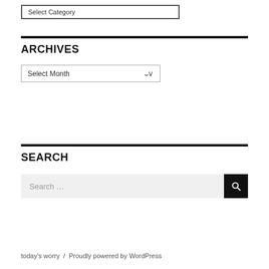Select Category
ARCHIVES
Select Month
SEARCH
Search ...
today's worry  /  Proudly powered by WordPress